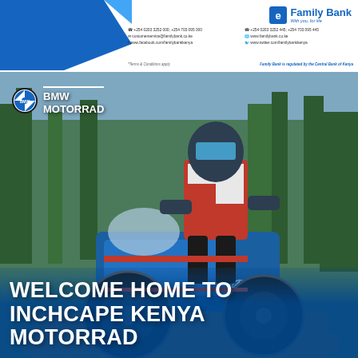[Figure (logo): Family Bank logo with blue house/shield icon, text 'Family Bank' and tagline 'With you, for life']
+254 0203 3252 000, +254 703 095 000  |  +254 0203 3252 401, +254 703 095 445
customerservice@familybank.co.ke  |  www.familybank.co.ke
www.facebook.com/familybankkenya  |  www.twitter.com/familybankkenya
*Terms & Conditions apply
Family Bank is regulated by the Central Bank of Kenya
[Figure (photo): A motorcyclist in full riding gear (red, white, blue) riding a BMW GS adventure motorcycle on an off-road trail with trees in the background]
BMW
MOTORRAD
WELCOME HOME TO INCHCAPE KENYA MOTORRAD